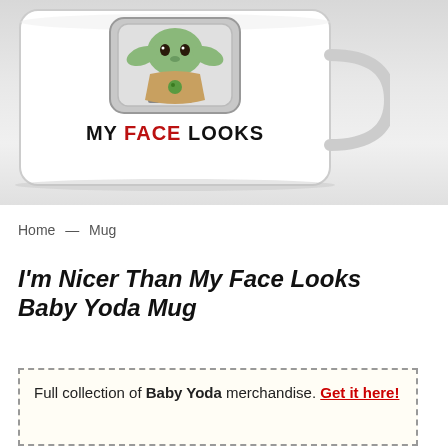[Figure (photo): Photo of a white ceramic mug with a Baby Yoda cartoon illustration and text 'MY FACE LOOKS' on it, shown on a light grey/white surface.]
Home — Mug
I'm Nicer Than My Face Looks Baby Yoda Mug
Full collection of Baby Yoda merchandise. Get it here!